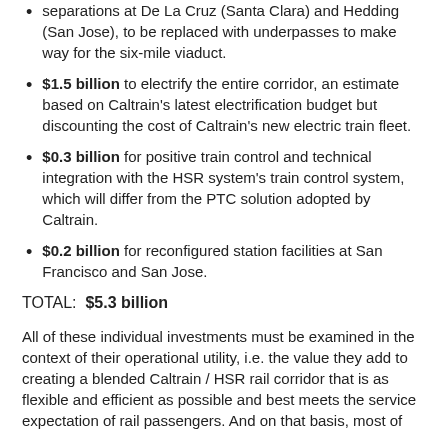separations at De La Cruz (Santa Clara) and Hedding (San Jose), to be replaced with underpasses to make way for the six-mile viaduct.
$1.5 billion to electrify the entire corridor, an estimate based on Caltrain's latest electrification budget but discounting the cost of Caltrain's new electric train fleet.
$0.3 billion for positive train control and technical integration with the HSR system's train control system, which will differ from the PTC solution adopted by Caltrain.
$0.2 billion for reconfigured station facilities at San Francisco and San Jose.
TOTAL:  $5.3 billion
All of these individual investments must be examined in the context of their operational utility, i.e. the value they add to creating a blended Caltrain / HSR rail corridor that is as flexible and efficient as possible and best meets the service expectation of rail passengers. And on that basis, most of